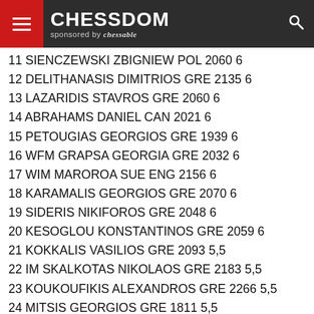CHESSDOM sponsored by chessable
11 SIENCZEWSKI ZBIGNIEW POL 2060 6
12 DELITHANASIS DIMITRIOS GRE 2135 6
13 LAZARIDIS STAVROS GRE 2060 6
14 ABRAHAMS DANIEL CAN 2021 6
15 PETOUGIAS GEORGIOS GRE 1939 6
16 WFM GRAPSA GEORGIA GRE 2032 6
17 WIM MAROROA SUE ENG 2156 6
18 KARAMALIS GEORGIOS GRE 2070 6
19 SIDERIS NIKIFOROS GRE 2048 6
20 KESOGLOU KONSTANTINOS GRE 2059 6
21 KOKKALIS VASILIOS GRE 2093 5,5
22 IM SKALKOTAS NIKOLAOS GRE 2183 5,5
23 KOUKOUFIKIS ALEXANDROS GRE 2266 5,5
24 MITSIS GEORGIOS GRE 1811 5,5